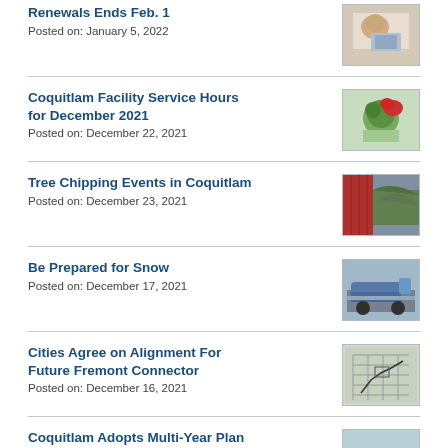Renewals Ends Feb. 1 | Posted on: January 5, 2022
Coquitlam Facility Service Hours for December 2021 | Posted on: December 22, 2021
Tree Chipping Events in Coquitlam | Posted on: December 23, 2021
Be Prepared for Snow | Posted on: December 17, 2021
Cities Agree on Alignment For Future Fremont Connector | Posted on: December 16, 2021
Coquitlam Adopts Multi-Year Plan to Improve Wildfire Resiliency